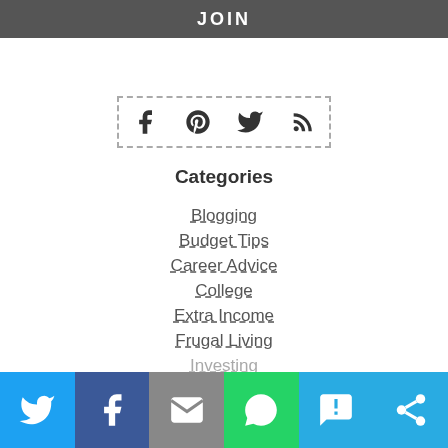JOIN
[Figure (other): Social media icons in dashed border box: Facebook, Pinterest, Twitter, RSS]
Categories
Blogging
Budget Tips
Career Advice
College
Extra Income
Frugal Living
Investing
Twitter | Facebook | Email | WhatsApp | SMS | Share